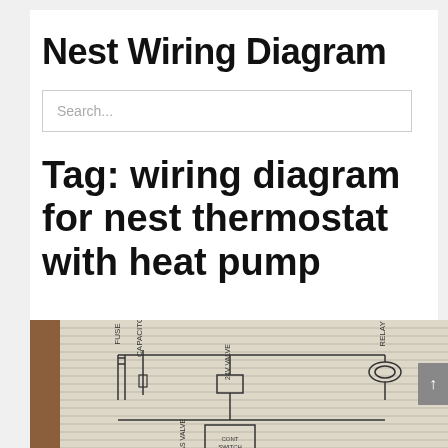Nest Wiring Diagram
Search...
Tag: wiring diagram for nest thermostat with heat pump
[Figure (schematic): Hand-drawn wiring schematic diagram for a nest thermostat with heat pump, showing components including fuse, capacitor, relay valve, and other electrical components with connecting wires on lined paper]